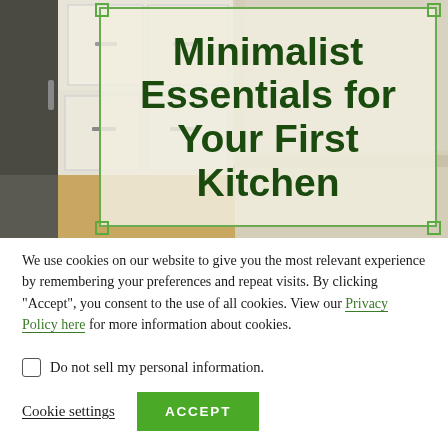[Figure (photo): Photo of a minimalist white kitchen with cabinets and wood floor, overlaid with a semi-transparent box containing the article title]
Minimalist Essentials for Your First Kitchen
We use cookies on our website to give you the most relevant experience by remembering your preferences and repeat visits. By clicking “Accept”, you consent to the use of all cookies. View our Privacy Policy here for more information about cookies.
Do not sell my personal information.
Cookie settings   ACCEPT